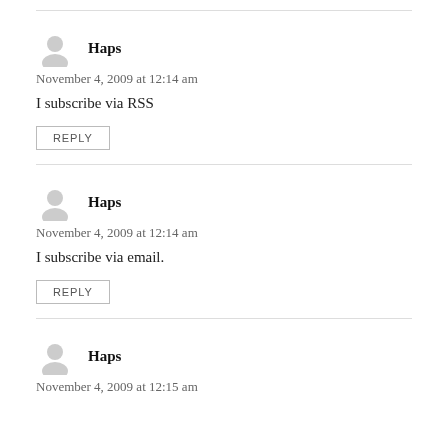Haps
November 4, 2009 at 12:14 am
I subscribe via RSS
REPLY
Haps
November 4, 2009 at 12:14 am
I subscribe via email.
REPLY
Haps
November 4, 2009 at 12:15 am